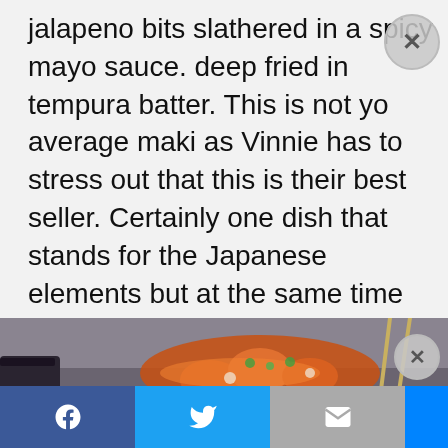jalapeno bits slathered in a spicy mayo sauce. deep fried in tempura batter. This is not your average maki as Vinnie has to stress out that this is their best seller. Certainly one dish that stands for the Japanese elements but at the same time represents the Mexican flavours.  He said he altered the level of spice just a little bit as most customers said that it was too spicy. He was absolutely right, maki was tasty and no need for soy sauce nor wasabi. A signature dish that is worth repeated return trips.
[Figure (photo): Photo of a Japanese-Mexican fusion food dish (sushi maki with orange sauce), served on a dark plate with chopsticks visible in background.]